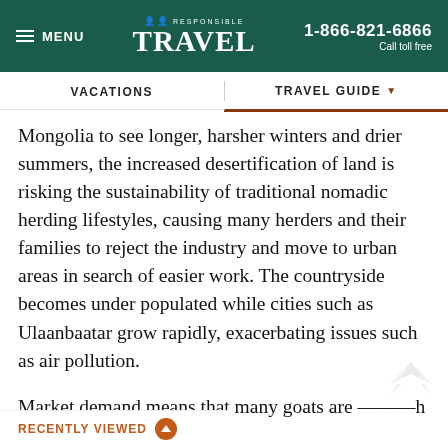MENU | RESPONSIBLE TRAVEL | 1-866-821-6866 Call toll free
VACATIONS | TRAVEL GUIDE
Mongolia to see longer, harsher winters and drier summers, the increased desertification of land is risking the sustainability of traditional nomadic herding lifestyles, causing many herders and their families to reject the industry and move to urban areas in search of easier work. The countryside becomes under populated while cities such as Ulaanbaatar grow rapidly, exacerbating issues such as air pollution.
Market demand means that many goats are — with little in the way of — exposed and vulnerable to
RECENTLY VIEWED